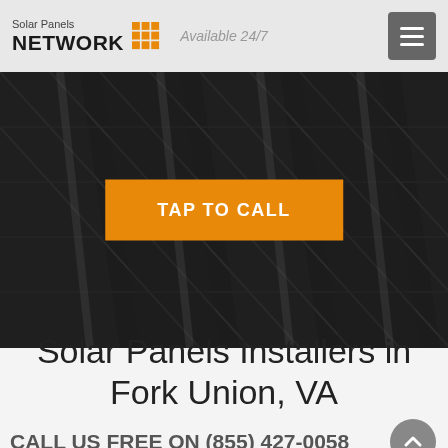Solar Panels NETWORK | Available 24/7
[Figure (photo): Dark solar panels background with TAP TO CALL orange button overlay]
Solar Panels Installers in Fork Union, VA
CALL US FREE ON (855) 427-0058